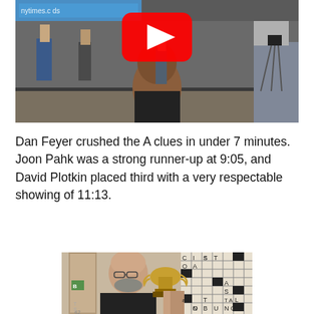[Figure (photo): Photo of a crossword competition event: audience members seated watching a stage area with people standing, a camera on a tripod visible on the right, and a YouTube play button overlay in the upper center. Sign in background partially reads 'nytimes'.]
Dan Feyer crushed the A clues in under 7 minutes. Joon Pahk was a strong runner-up at 9:05, and David Plotkin placed third with a very respectable showing of 11:13.
[Figure (photo): Photo of a bald man with glasses and a beard smiling and holding up a trophy cup. Behind him is a large crossword puzzle board on the wall.]